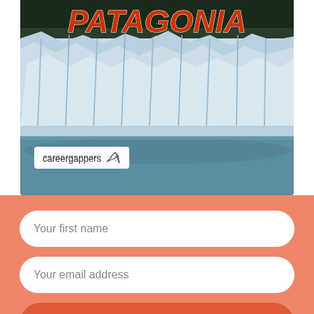[Figure (photo): Patagonia glacier landscape with blue ice wall and turquoise water, with 'PATAGONIA' text overlay in orange-red italic bold font, and careergappers logo badge in lower left]
Your first name
Your email address
SUBSCRIBE
We won't send you spam. We'll try to keep it interesting and relevent.